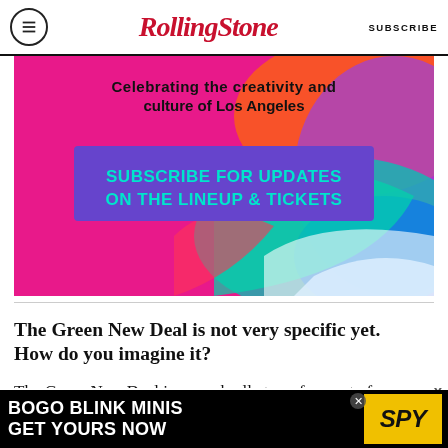RollingStone — SUBSCRIBE
[Figure (illustration): Colorful promotional ad banner with pink, teal, red and purple swirls. Text reads: 'Celebrating the creativity and culture of Los Angeles' with a purple button 'SUBSCRIBE FOR UPDATES ON THE LINEUP & TICKETS']
The Green New Deal is not very specific yet. How do you imagine it?
The Green New Deal is an umbrella term for a set of policies and programs that will rapidly decarbonize our economy, get all of us off of fossil fuels, and work to stop the climate crisis in the
[Figure (advertisement): Black background ad: 'BOGO BLINK MINIS GET YOURS NOW' with SPY logo on yellow badge]